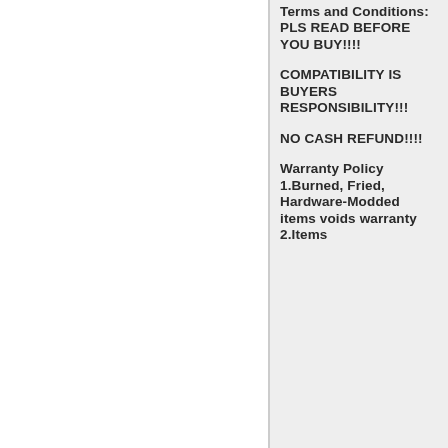Terms and Conditions: PLS READ BEFORE YOU BUY!!!!
COMPATIBILITY IS BUYERS RESPONSIBILITY!!!
NO CASH REFUND!!!!
Warranty Policy
1.Burned, Fried, Hardware-Modded items voids warranty
2.Items